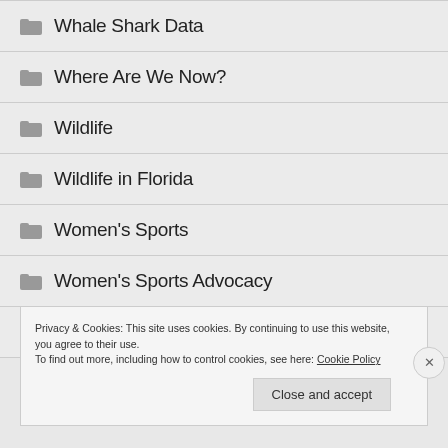Whale Shark Data
Where Are We Now?
Wildlife
Wildlife in Florida
Women's Sports
Women's Sports Advocacy
Woody Allen
Privacy & Cookies: This site uses cookies. By continuing to use this website, you agree to their use.
To find out more, including how to control cookies, see here: Cookie Policy
Close and accept